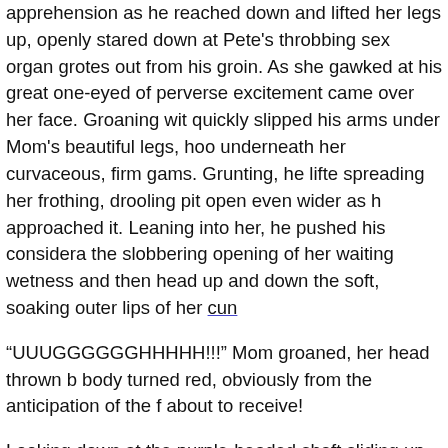apprehension as he reached down and lifted her legs up, openly stared down at Pete's throbbing sex organ grotesquely out from his groin. As she gawked at his great one-eyed of perverse excitement came over her face. Groaning with quickly slipped his arms under Mom's beautiful legs, hooked underneath her curvaceous, firm gams. Grunting, he lifted spreading her frothing, drooling pit open even wider as he approached it. Leaning into her, he pushed his considerably the slobbering opening of her waiting wetness and then head up and down the soft, soaking outer lips of her cunt
“UUUGGGGGGHHHHHH!!!” Mom groaned, her head thrown body turned red, obviously from the anticipation of the fucking about to receive!
Looking down at the purple-headed shaft sliding up and entrance to her waiting womanhood, Mom reached down its rigid, bloated hardness. Slowly, apprehensively, she found the slippery wet gash of her cunt. Then, as it touched her